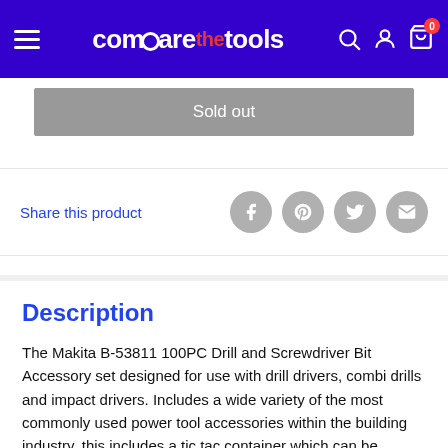comparethetools
Sold out
Share this product
Description
The Makita B-53811 100PC Drill and Screwdriver Bit Accessory set designed for use with drill drivers, combi drills and impact drivers. Includes a wide variety of the most commonly used power tool accessories within the building industry, this includes a tic tac container which can be removed form the case and carried in a pocket for added convenience. Recommended for DIY and light trade use especially when a nice compact case is ideal.